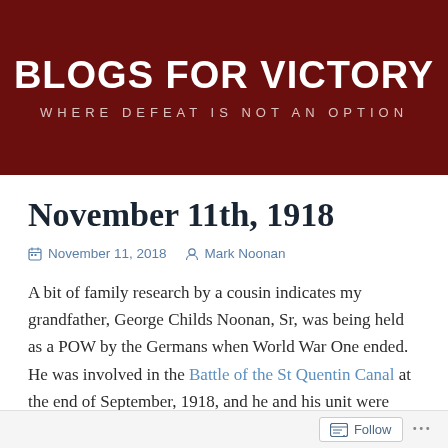BLOGS FOR VICTORY — WHERE DEFEAT IS NOT AN OPTION
November 11th, 1918
November 11, 2018  Mark Noonan
A bit of family research by a cousin indicates my grandfather, George Childs Noonan, Sr, was being held as a POW by the Germans when World War One ended. He was involved in the Battle of the St Quentin Canal at the end of September, 1918, and he and his unit were